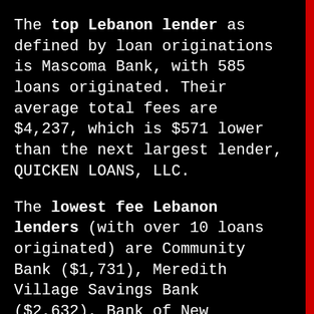The top Lebanon lender as defined by loan originations is Mascoma Bank, with 585 loans originated. Their average total fees are $4,237, which is $571 lower than the next largest lender, QUICKEN LOANS, LLC.
The lowest fee Lebanon lenders (with over 10 loans originated) are Community Bank ($1,731), Meredith Village Savings Bank ($2,632), Bank of New Hampshire ($2,915), Northfield Savings Bank ($3,152) and Northway Bank